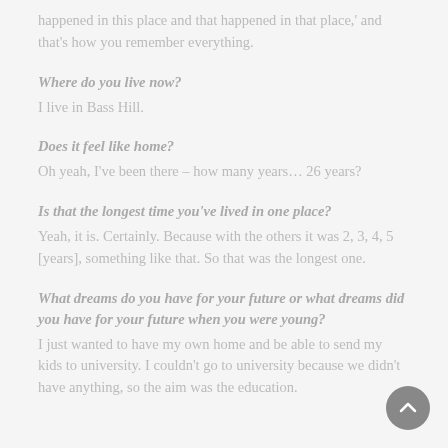happened in this place and that happened in that place,' and that's how you remember everything.
Where do you live now?
I live in Bass Hill.
Does it feel like home?
Oh yeah, I've been there – how many years… 26 years?
Is that the longest time you've lived in one place?
Yeah, it is. Certainly. Because with the others it was 2, 3, 4, 5 [years], something like that. So that was the longest one.
What dreams do you have for your future or what dreams did you have for your future when you were young?
I just wanted to have my own home and be able to send my kids to university. I couldn't go to university because we didn't have anything, so the aim was the education.